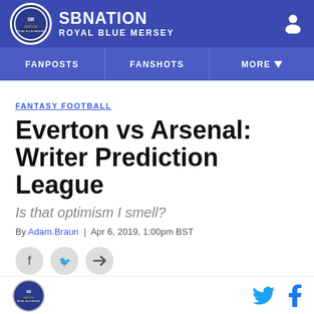SBNation Royal Blue Mersey
FANPOSTS | FANSHOTS | MORE
FANTASY FOOTBALL
Everton vs Arsenal: Writer Prediction League
Is that optimism I smell?
By Adam.Braun | Apr 6, 2019, 1:00pm BST
SBNation Royal Blue Mersey footer with social icons